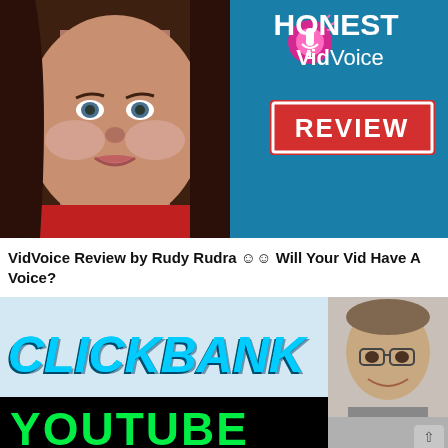[Figure (screenshot): Thumbnail image showing a woman's face on the left against a teal/blue background, with text on the right reading 'HONEST VidVoice REVIEW' with a microphone icon and a red REVIEW badge with white border]
VidVoice Review by Rudy Rudra ☺☺ Will Your Vid Have A Voice?
[Figure (screenshot): Video thumbnail with light blue background showing 'CLICKBANK' text in large cyan italic letters on left, 'YOUTUBE' text in green on black bar at bottom, and a man's face photo on the right side]